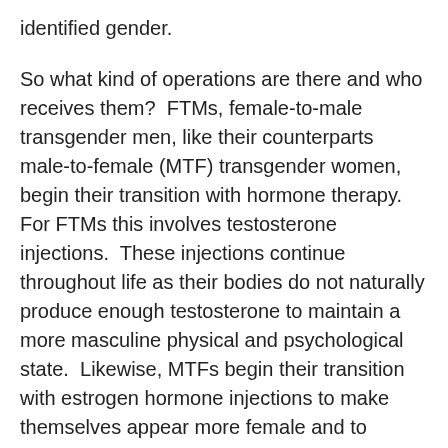identified gender.
So what kind of operations are there and who receives them?  FTMs, female-to-male transgender men, like their counterparts male-to-female (MTF) transgender women, begin their transition with hormone therapy.  For FTMs this involves testosterone injections.  These injections continue throughout life as their bodies do not naturally produce enough testosterone to maintain a more masculine physical and psychological state.  Likewise, MTFs begin their transition with estrogen hormone injections to make themselves appear more female and to suppress the effects of naturally occurring testosterone.
Later in transition, FTM's can opt to have breast reduction surgery, what's referred to as top surgery in the trans community.  The majority of FTM's I've talked to have